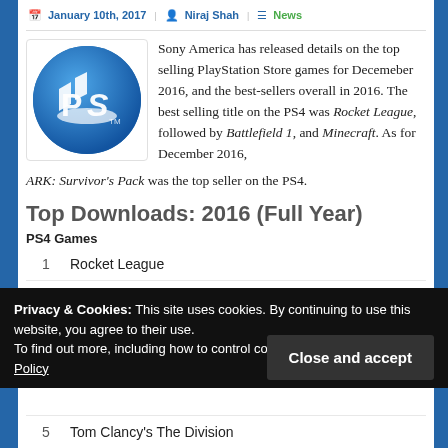January 10th, 2017 | Niraj Shah | News
[Figure (logo): PlayStation logo - blue circle with white PS symbol]
Sony America has released details on the top selling PlayStation Store games for Decemeber 2016, and the best-sellers overall in 2016. The best selling title on the PS4 was Rocket League, followed by Battlefield 1, and Minecraft. As for December 2016, ARK: Survivor's Pack was the top seller on the PS4.
Top Downloads: 2016 (Full Year)
PS4 Games
1    Rocket League
2    Battlefield 1
Privacy & Cookies: This site uses cookies. By continuing to use this website, you agree to their use. To find out more, including how to control cookies, see here: Cookie Policy
5    Tom Clancy's The Division